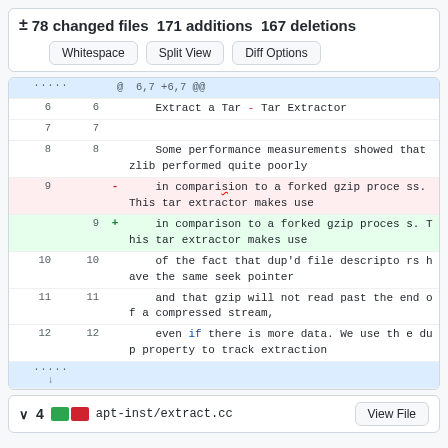± 78 changed files 171 additions 167 deletions
Whitespace | Split View | Diff Options
| old ln | new ln | sign | code |
| --- | --- | --- | --- |
| ..... |  |  | @ 6,7 +6,7 @@ |
| 6 | 6 |  |     Extract a Tar - Tar Extractor |
| 7 | 7 |  |  |
| 8 | 8 |  |     Some performance measurements showed that zlib performed quite poorly |
| 9 |  | - |     in comparision to a forked gzip process. This tar extractor makes use |
|  | 9 | + |     in comparison to a forked gzip process. This tar extractor makes use |
| 10 | 10 |  |     of the fact that dup'd file descriptors have the same seek pointer |
| 11 | 11 |  |     and that gzip will not read past the end of a compressed stream, |
| 12 | 12 |  |     even if there is more data. We use the dup property to track extraction |
| ..... |  |  |  |
↓ 4 apt-inst/extract.cc   View File